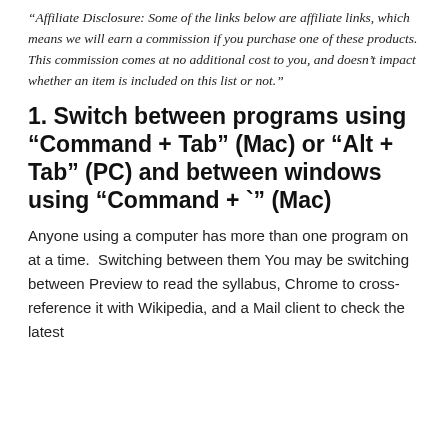“Affiliate Disclosure: Some of the links below are affiliate links, which means we will earn a commission if you purchase one of these products. This commission comes at no additional cost to you, and doesn’t impact whether an item is included on this list or not.”
1. Switch between programs using “Command + Tab” (Mac) or “Alt + Tab” (PC) and between windows using “Command + `” (Mac)
Anyone using a computer has more than one program on at a time.  Switching between them You may be switching between Preview to read the syllabus, Chrome to cross-reference it with Wikipedia, and a Mail client to check the latest